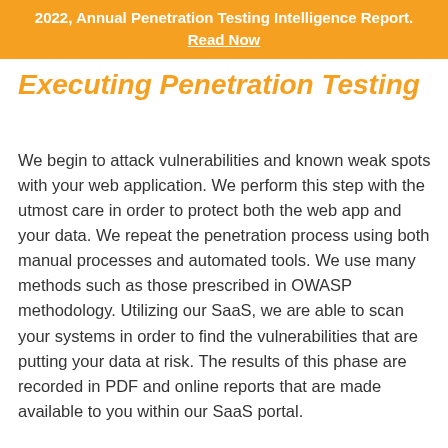2022, Annual Penetration Testing Intelligence Report. Read Now
Executing Penetration Testing
We begin to attack vulnerabilities and known weak spots with your web application. We perform this step with the utmost care in order to protect both the web app and your data. We repeat the penetration process using both manual processes and automated tools. We use many methods such as those prescribed in OWASP methodology. Utilizing our SaaS, we are able to scan your systems in order to find the vulnerabilities that are putting your data at risk. The results of this phase are recorded in PDF and online reports that are made available to you within our SaaS portal.